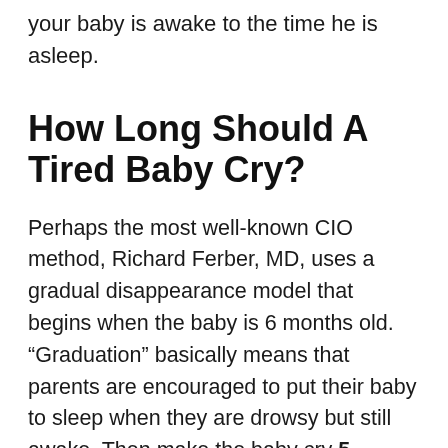your baby is awake to the time he is asleep.
How Long Should A Tired Baby Cry?
Perhaps the most well-known CIO method, Richard Ferber, MD, uses a gradual disappearance model that begins when the baby is 6 months old. “Graduation” basically means that parents are encouraged to put their baby to sleep when they are drowsy but still awake. Then make the baby cry 5 minutes before the first response.